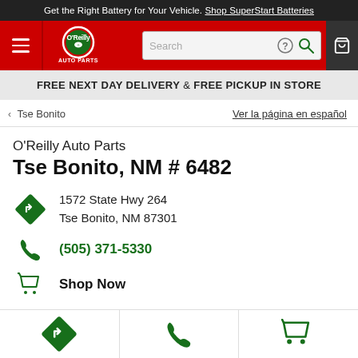Get the Right Battery for Your Vehicle. Shop SuperStart Batteries
[Figure (logo): O'Reilly Auto Parts logo with navigation bar, search field, and cart icon]
FREE NEXT DAY DELIVERY & FREE PICKUP IN STORE
< Tse Bonito    Ver la página en español
O'Reilly Auto Parts Tse Bonito, NM # 6482
1572 State Hwy 264
Tse Bonito, NM 87301
(505) 371-5330
Shop Now